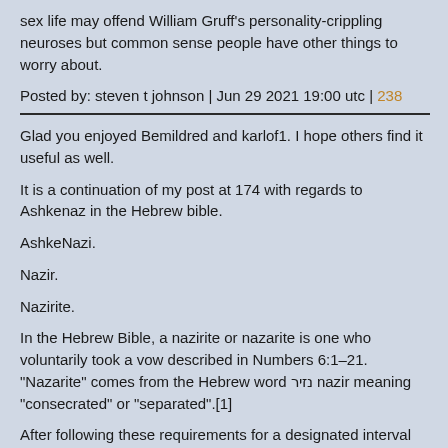sex life may offend William Gruff's personality-crippling neuroses but common sense people have other things to worry about.
Posted by: steven t johnson | Jun 29 2021 19:00 utc | 238
Glad you enjoyed Bemildred and karlof1. I hope others find it useful as well.
It is a continuation of my post at 174 with regards to Ashkenaz in the Hebrew bible.
AshkeNazi.
Nazir.
Nazirite.
In the Hebrew Bible, a nazirite or nazarite is one who voluntarily took a vow described in Numbers 6:1–21. "Nazarite" comes from the Hebrew word נזיר nazir meaning "consecrated" or "separated".[1]
After following these requirements for a designated interval (which would be specified in the individual's vow), the person would immerse in a mikveh and make three offerings: a lamb as a burnt offering (olah), a ewe as a sin offering (hatat), and a ram as a peace offering (shelamim).